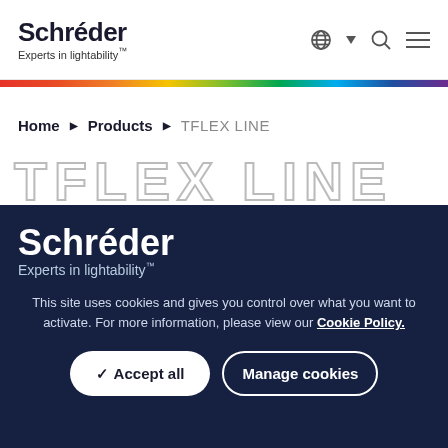Schréder — Experts in lightability™
Home ▶ Products ▶ TFLEX LINE
TFLEX LINE
[Figure (logo): Schréder logo with tagline 'Experts in lightability™' on dark navy cookie consent overlay]
This site uses cookies and gives you control over what you want to activate. For more information, please view our Cookie Policy.
✓ Accept all   Manage cookies